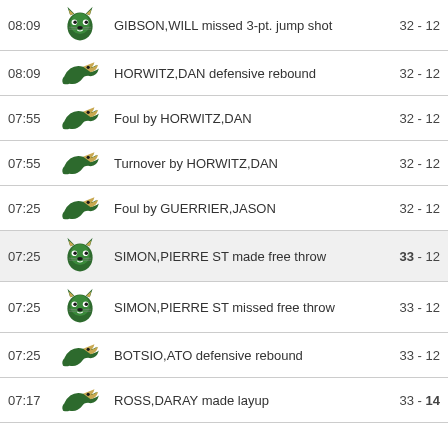| Time | Logo | Play | Score |
| --- | --- | --- | --- |
| 08:09 | [wildcat] | GIBSON,WILL missed 3-pt. jump shot | 32 - 12 |
| 08:09 | [hawk] | HORWITZ,DAN defensive rebound | 32 - 12 |
| 07:55 | [hawk] | Foul by HORWITZ,DAN | 32 - 12 |
| 07:55 | [hawk] | Turnover by HORWITZ,DAN | 32 - 12 |
| 07:25 | [hawk] | Foul by GUERRIER,JASON | 32 - 12 |
| 07:25 | [wildcat] | SIMON,PIERRE ST made free throw | 33 - 12 |
| 07:25 | [wildcat] | SIMON,PIERRE ST missed free throw | 33 - 12 |
| 07:25 | [hawk] | BOTSIO,ATO defensive rebound | 33 - 12 |
| 07:17 | [hawk] | ROSS,DARAY made layup | 33 - 14 |